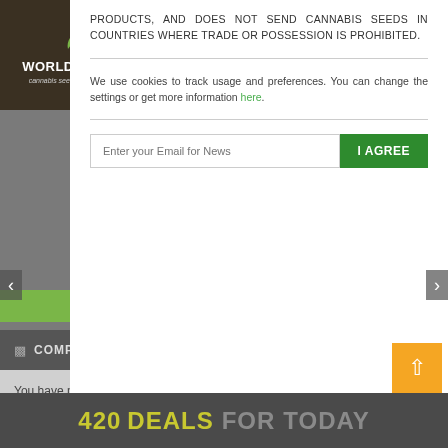[Figure (logo): World of Seeds cannabis seeds around the world logo on dark brown background]
PRODUCTS, AND DOES NOT SEND CANNABIS SEEDS IN COUNTRIES WHERE TRADE OR POSSESSION IS PROHIBITED.
We use cookies to track usage and preferences. You can change the settings or get more information here.
Enter your Email for News
I AGREE
COMPARE PRODUCTS
You have no items to compare.
420 DEALS FOR TODAY